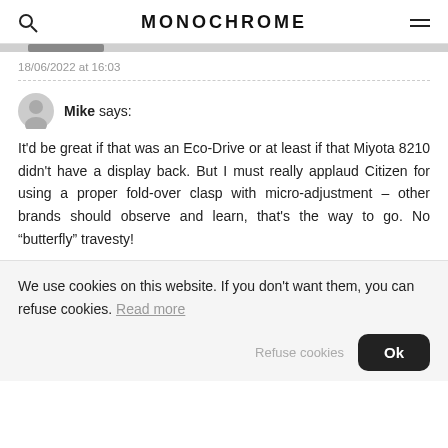MONOCHROME
18/06/2022 at 16:03
Mike says:
It'd be great if that was an Eco-Drive or at least if that Miyota 8210 didn't have a display back. But I must really applaud Citizen for using a proper fold-over clasp with micro-adjustment – other brands should observe and learn, that's the way to go. No “butterfly” travesty!
We use cookies on this website. If you don't want them, you can refuse cookies. Read more